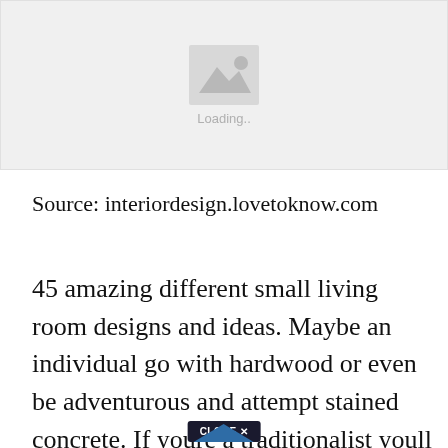[Figure (other): Image placeholder with mountain/photo icon and 'Loading..' text below it on a light gray background]
Source: interiordesign.lovetoknow.com
45 amazing different small living room designs and ideas. Maybe an individual go with hardwood or even be adventurous and attempt stained concrete. If youre a traditionalist youll find everything you need